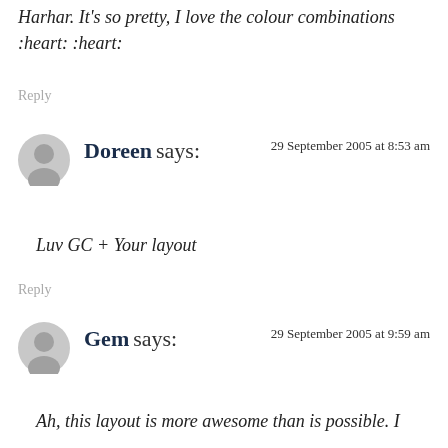Harhar. It's so pretty, I love the colour combinations :heart: :heart:
Reply
Doreen says: 29 September 2005 at 8:53 am
Luv GC + Your layout
Reply
Gem says: 29 September 2005 at 9:59 am
Ah, this layout is more awesome than is possible. I